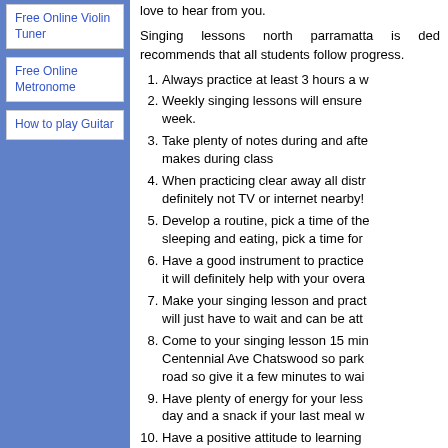Free Online Violin Tuner
Free Online Metronome
How to play Guitar
love to hear from you.
Singing lessons north parramatta is ded recommends that all students follow progress.
Always practice at least 3 hours a w
Weekly singing lessons will ensure week.
Take plenty of notes during and afte makes during class
When practicing clear away all distr definitely not TV or internet nearby!
Develop a routine, pick a time of the sleeping and eating, pick a time for
Have a good instrument to practice it will definitely help with your overa
Make your singing lesson and pract will just have to wait and can be att
Come to your singing lesson 15 min Centennial Ave Chatswood so park road so give it a few minutes to wai
Have plenty of energy for your less day and a snack if your last meal w
Have a positive attitude to learning and encourage you.